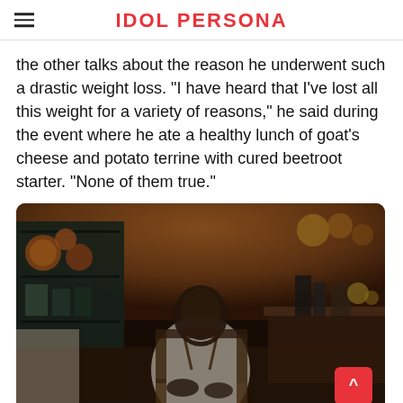IDOL PERSONA
the other talks about the reason he underwent such a drastic weight loss. "I have heard that I've lost all this weight for a variety of reasons," he said during the event where he ate a healthy lunch of goat's cheese and potato terrine with cured beetroot starter. "None of them true."
[Figure (photo): A man in a white shirt and suspenders sitting in a wooden chair inside a rustic kitchen setting with copper pans and wooden shelves in the background.]